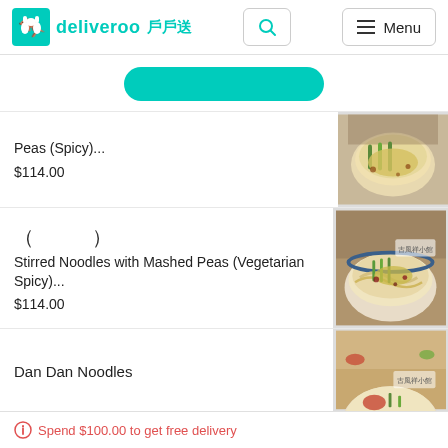deliveroo 戶戶送
[Figure (other): Teal rounded pill/button element]
Peas (Spicy)...
$114.00
[Figure (photo): Photo of a bowl of noodles with mashed peas, spicy version]
（  ）
Stirred Noodles with Mashed Peas (Vegetarian Spicy)...
$114.00
[Figure (photo): Photo of a bowl of noodles, vegetarian spicy version with restaurant branding]
Dan Dan Noodles
[Figure (photo): Partial photo of Dan Dan Noodles dish]
Spend $100.00 to get free delivery